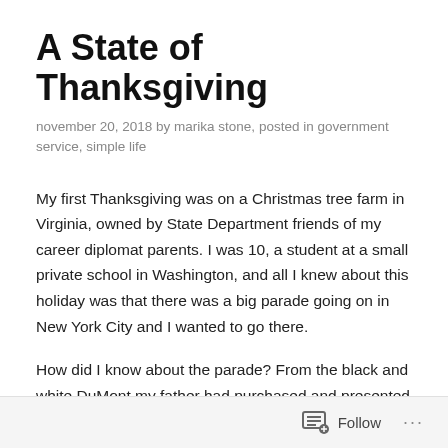A State of Thanksgiving
november 20, 2018 by marika stone, posted in government service, simple life
My first Thanksgiving was on a Christmas tree farm in Virginia, owned by State Department friends of my career diplomat parents. I was 10, a student at a small private school in Washington, and all I knew about this holiday was that there was a big parade going on in New York City and I wanted to go there.
How did I know about the parade? From the black and white DuMont my father had purchased and presented to the family with a flourish. The Pilgrim and Indian story couldn't hold a candle to what I was learning about American life, about true American favorites…
Follow